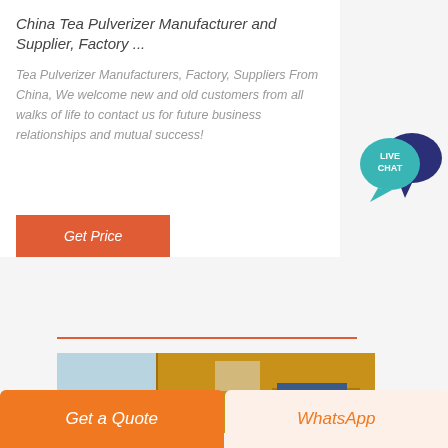China Tea Pulverizer Manufacturer and Supplier, Factory ...
Tea Pulverizer Manufacturers, Factory, Suppliers From China, We welcome new and old customers from all walks of life to contact us for future business relationships and mutual success!
[Figure (illustration): Live chat widget with speech bubble icons in dark blue and teal]
[Figure (photo): Industrial yellow machinery equipment (crusher/pulverizer) outdoors against a blue sky]
Get Price
Get a Quote
WhatsApp